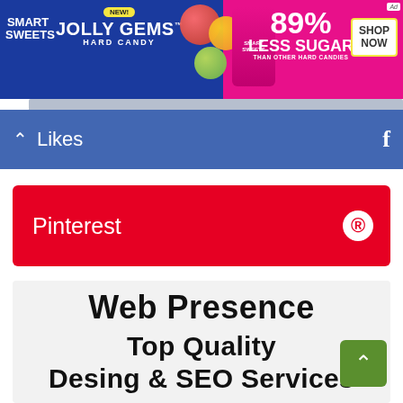[Figure (screenshot): Smart Sweets advertisement banner for Jolly Gems Hard Candy, showing 89% Less Sugar than other hard candies, with Shop Now button]
Likes
Pinterest
Web Presence
Top Quality Desing & SEO Services